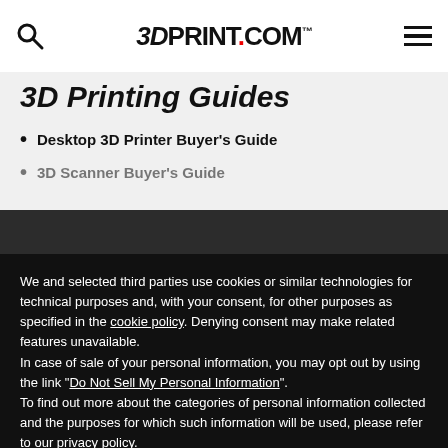3DPrint.com
3D Printing Guides
Desktop 3D Printer Buyer's Guide
3D Scanner Buyer's Guide
We and selected third parties use cookies or similar technologies for technical purposes and, with your consent, for other purposes as specified in the cookie policy. Denying consent may make related features unavailable.
In case of sale of your personal information, you may opt out by using the link "Do Not Sell My Personal Information".
To find out more about the categories of personal information collected and the purposes for which such information will be used, please refer to our privacy policy.
You can consent to the use of such technologies by using the "Accept" button, by scrolling this page, by interacting with any link or button outside of this notice or by continuing to browse otherwise.
Reject
Accept
Learn more and customize